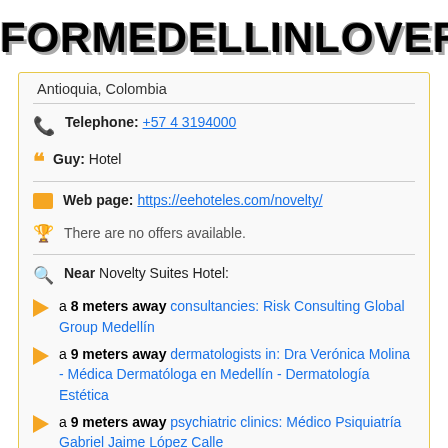FORMEDELLINLOVERS
Antioquia, Colombia
Telephone: +57 4 3194000
Guy: Hotel
Web page: https://eehoteles.com/novelty/
There are no offers available.
Near Novelty Suites Hotel:
a 8 meters away consultancies: Risk Consulting Global Group Medellín
a 9 meters away dermatologists in: Dra Verónica Molina - Médica Dermatóloga en Medellín - Dermatología Estética
a 9 meters away psychiatric clinics: Médico Psiquiatría Gabriel Jaime López Calle